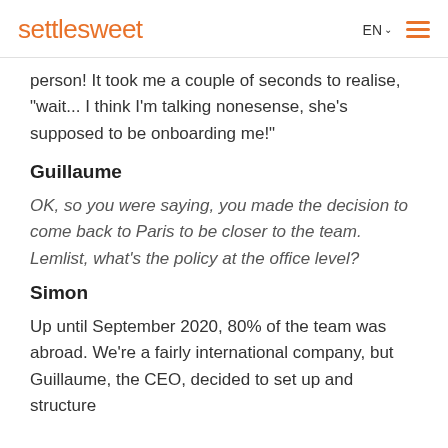settlesweet | EN | menu
person! It took me a couple of seconds to realise, "wait... I think I'm talking nonesense, she's supposed to be onboarding me!"
Guillaume
OK, so you were saying, you made the decision to come back to Paris to be closer to the team. Lemlist, what's the policy at the office level?
Simon
Up until September 2020, 80% of the team was abroad. We're a fairly international company, but Guillaume, the CEO, decided to set up and structure